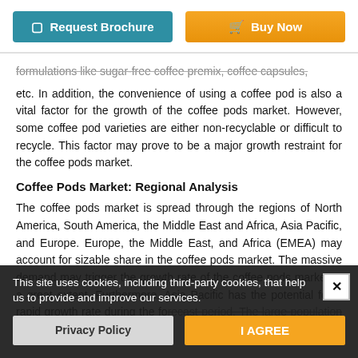Request Brochure | Buy Now
formulations like sugar-free coffee premix, coffee capsules, etc. In addition, the convenience of using a coffee pod is also a vital factor for the growth of the coffee pods market. However, some coffee pod varieties are either non-recyclable or difficult to recycle. This factor may prove to be a major growth restraint for the coffee pods market.
Coffee Pods Market: Regional Analysis
The coffee pods market is spread through the regions of North America, South America, the Middle East and Africa, Asia Pacific, and Europe. Europe, the Middle East, and Africa (EMEA) may account for sizable share in the coffee pods market. The massive demand may trigger the growth rate of the coffee pods market to a great extent. Furthermore, Asia Pacific has the potential for a rapid growth rate during the forecast period. The large population of the countries of China, Japan, and the growing demand from India. In addition, increased popularity of coffee may boost the growth rate of the coffee pods market.
This site uses cookies, including third-party cookies, that help us to provide and improve our services.
Privacy Policy | I AGREE